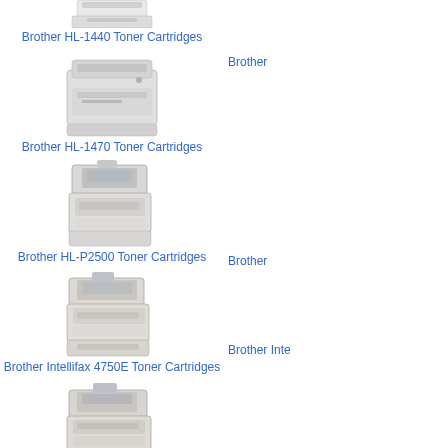[Figure (photo): Brother HL-1440 laser printer, top cropped, white/beige color]
Brother HL-1440 Toner Cartridges
Brother
[Figure (photo): Brother HL-1470 laser printer, white/beige color]
Brother HL-1470 Toner Cartridges
Brother
[Figure (photo): Brother HL-P2500 fax/printer, gray color]
Brother HL-P2500 Toner Cartridges
Brother Inte
[Figure (photo): Brother Intellifax 4750E fax machine, beige/gray color]
Brother Intellifax 4750E Toner Cartridges
Brother Inte
[Figure (photo): Brother Intellifax 5750E fax machine, gray color]
Brother Intellifax 5750E Toner Cartridges
Brother M
[Figure (photo): Brother fax machine partially visible at bottom, gray/beige color]